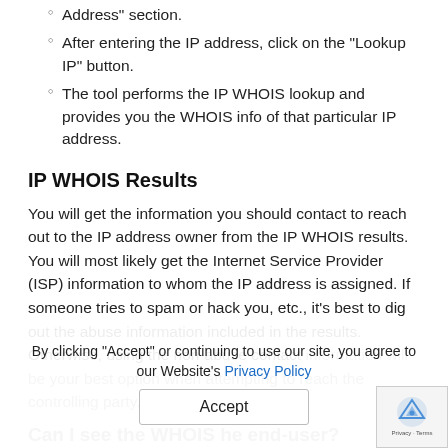Enter a valid IP address in the "Enter Any Valid IP Address" section.
After entering the IP address, click on the "Lookup IP" button.
The tool performs the IP WHOIS lookup and provides you the WHOIS info of that particular IP address.
IP WHOIS Results
You will get the information you should contact to reach out to the IP address owner from the IP WHOIS results. You will most likely get the Internet Service Provider (ISP) information to whom the IP address is assigned. If someone tries to spam or hack you, etc., it's best to dig out the abuse information included in the results. Otherwise, using the non-abuse contact information will be your best option when attempting to reach the controlling party.
Can I see the WHOIS info of the end-user?
The WHOIS results provide the organization or individual's